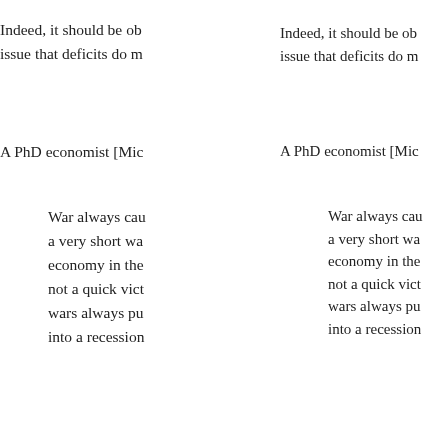Indeed, it should be ob... issue that deficits do m...
A PhD economist [Mic...
War always cau... a very short wa... economy in the... not a quick vict... wars always pu... into a recession...
You know about Amer... may have even heard... suffered a permanent...
But did you know that... booming?
As I pointed out in Aug... mainly defense spend... of the new job creation...
The U.S. has la... creation for ten... chief economic...